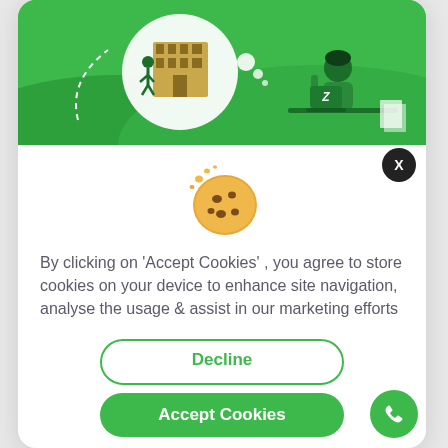[Figure (illustration): Green banner with illustration: person sitting at a desk with a laptop (showing Z), a thought bubble showing a building/campus scene with a person walking, and green hills in the background.]
[Figure (illustration): Cookie emoji icon (chocolate chip cookie with crumbs).]
By clicking on ‘Accept Cookies’ , you agree to store cookies on your device to enhance site navigation, analyse the usage & assist in our marketing efforts
Decline
Accept Cookies